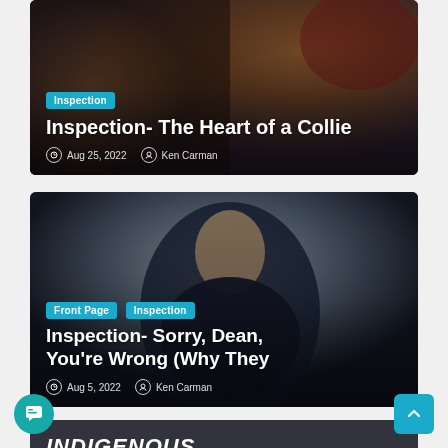[Figure (photo): Article card 1: Background photo of a Collie dog, blurred/warm tones with dark overlay. Category tag 'Inspection', title 'Inspection- The Heart of a Collie', date Aug 25, 2022, author Ken Carman.]
[Figure (photo): Article card 2: Background photo of a smiling man in a dark suit on a grey background. Category tags 'Front Page' and 'Inspection', title 'Inspection- Sorry, Dean, You’re Wrong (Why They', date Aug 5, 2022, author Ken Carman.]
[Figure (photo): Article card 3 (partial): Dark background with partial text 'INDIGENOUS' visible at bottom.]